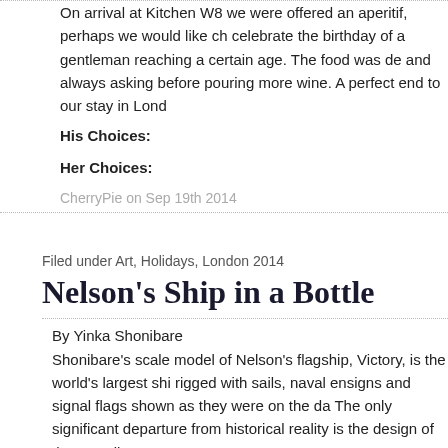On arrival at Kitchen W8 we were offered an aperitif, perhaps we would like ch celebrate the birthday of a gentleman reaching a certain age. The food was de and always asking before pouring more wine. A perfect end to our stay in Lond
His Choices:
Her Choices:
CherryPie on Sep 19th 2014
Filed under Art, Holidays, London 2014
Nelson's Ship in a Bottle
By Yinka Shonibare
Shonibare's scale model of Nelson's flagship, Victory, is the world's largest shi rigged with sails, naval ensigns and signal flags shown as they were on the da The only significant departure from historical reality is the design of the 37 sail
CherryPie on Sep 18th 2014